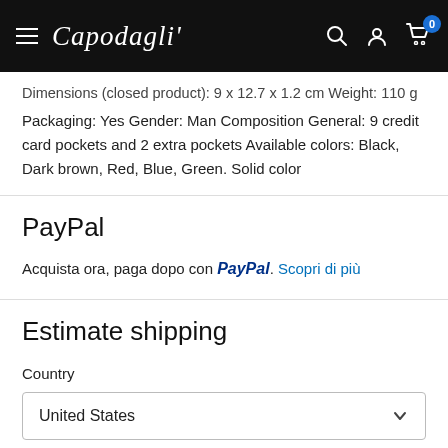Capodagli (navigation bar with hamburger menu, search, account, and cart with badge 0)
Dimensions (closed product): 9 x 12.7 x 1.2 cm Weight: 110 g Packaging: Yes Gender: Man Composition General: 9 credit card pockets and 2 extra pockets Available colors: Black, Dark brown, Red, Blue, Green. Solid color
PayPal
Acquista ora, paga dopo con PayPal. Scopri di più
Estimate shipping
Country
United States